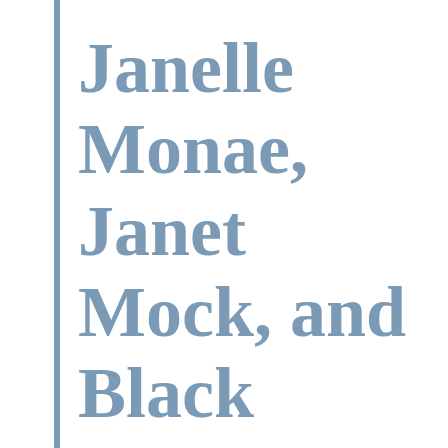Janelle Monae, Janet Mock, and Black Femme